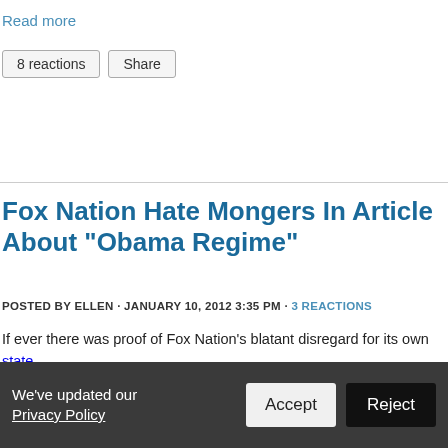Read more
8 reactions   Share
Fox Nation Hate Mongers In Article About "Obama Regime"
POSTED BY ELLEN · JANUARY 10, 2012 3:35 PM · 3 REACTIONS
If ever there was proof of Fox Nation's blatant disregard for its own stated purpose of tolerance, civility and "fair and balanced coverage of the news," it's one of their latest "fired up" posts called, Is the Obama Regime Messing With the WH Visitor Logs? Calling the Obama administration the "Obama regime" is deliberately inflammatory enough but if you actually
We've updated our Privacy Policy   Accept   Reject